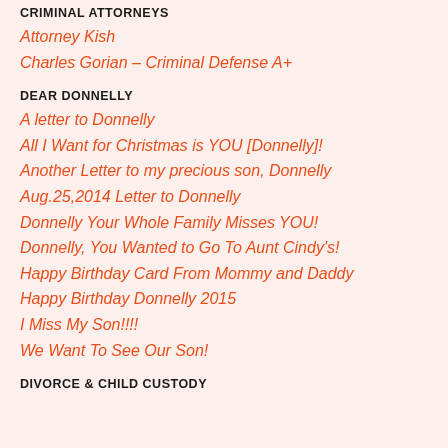CRIMINAL ATTORNEYS
Attorney Kish
Charles Gorian – Criminal Defense A+
DEAR DONNELLY
A letter to Donnelly
All I Want for Christmas is YOU [Donnelly]!
Another Letter to my precious son, Donnelly
Aug.25,2014 Letter to Donnelly
Donnelly Your Whole Family Misses YOU!
Donnelly, You Wanted to Go To Aunt Cindy's!
Happy Birthday Card From Mommy and Daddy
Happy Birthday Donnelly 2015
I Miss My Son!!!!
We Want To See Our Son!
DIVORCE & CHILD CUSTODY